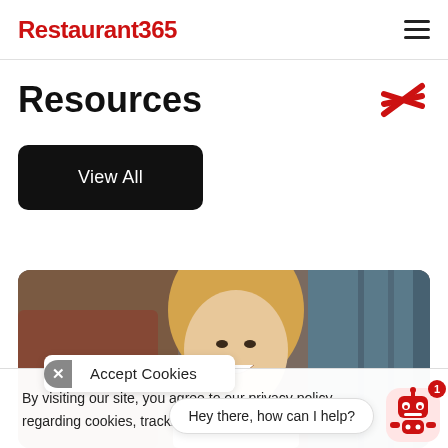Restaurant365
Resources
View All
[Figure (photo): A smiling blonde woman in a white shirt at what appears to be a restaurant or hotel front desk setting]
By visiting our site, you agree to our privacy policy regarding cookies, tracking statistics, etc. Read more
Accept Cookies
Hey there, how can I help?